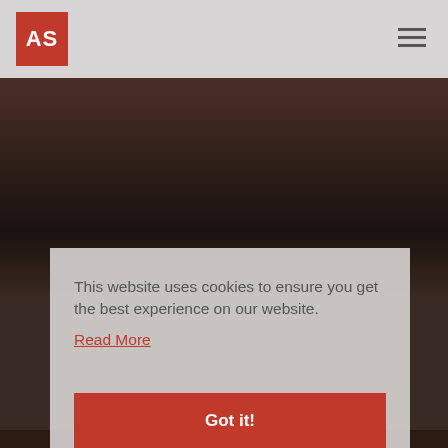[Figure (logo): Red square logo with white text 'AS']
[Figure (photo): Dark blurred background photo of a person outdoors]
This website uses cookies to ensure you get the best experience on our website.
Read More
Got it!